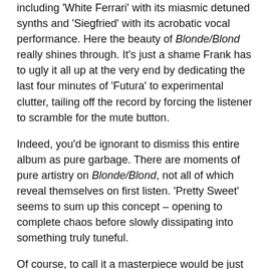including 'White Ferrari' with its miasmic detuned synths and 'Siegfried' with its acrobatic vocal performance. Here the beauty of Blonde/Blond really shines through. It's just a shame Frank has to ugly it all up at the very end by dedicating the last four minutes of 'Futura' to experimental clutter, tailing off the record by forcing the listener to scramble for the mute button.
Indeed, you'd be ignorant to dismiss this entire album as pure garbage. There are moments of pure artistry on Blonde/Blond, not all of which reveal themselves on first listen. 'Pretty Sweet' seems to sum up this concept – opening to complete chaos before slowly dissipating into something truly tuneful.
Of course, to call it a masterpiece would be just as rash, as there are as many obnoxious parts as there are sophisticated moments. The 'thought of becoming a dream' stoner babble at the end of 'Siegfried' and aforementioned 'rain, glitter' line in 'Nikes' feel like moments that could be humorous if Frank accepted they were gibberish. Instead, he lets us believe there's some divine deeper meaning, which only frustrates into thinking the more, as you start to...